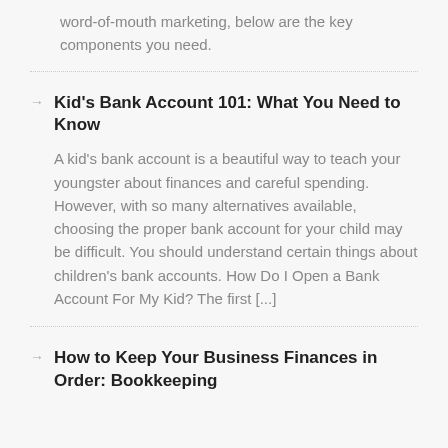word-of-mouth marketing, below are the key components you need.
Kid's Bank Account 101: What You Need to Know
A kid's bank account is a beautiful way to teach your youngster about finances and careful spending. However, with so many alternatives available, choosing the proper bank account for your child may be difficult. You should understand certain things about children's bank accounts. How Do I Open a Bank Account For My Kid? The first [...]
How to Keep Your Business Finances in Order: Bookkeeping